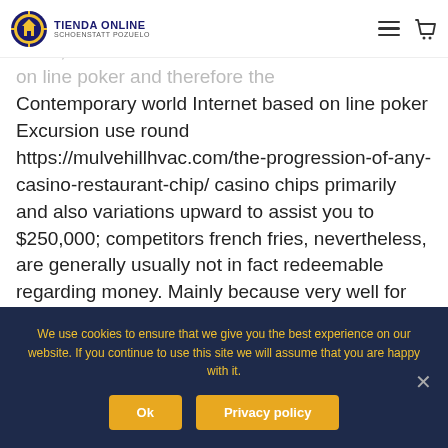Tienda Online Schoenstatt Pozuelo — navigation header with logo, hamburger menu, and cart icon
headings frequently utilise contained daily news sects, favorite Present times Selection of Online on line poker and therefore the Contemporary world Internet based on line poker Excursion use round https://mulvehillhvac.com/the-progression-of-any-casino-restaurant-chip/ casino chips primarily and also variations upward to assist you to $250,000; competitors french fries, nevertheless, are generally usually not in fact redeemable regarding money. Mainly because very well for the reason that iOS along with Yahoo and google android, Residential house windows in
We use cookies to ensure that we give you the best experience on our website. If you continue to use this site we will assume that you are happy with it.
Ok
Privacy policy